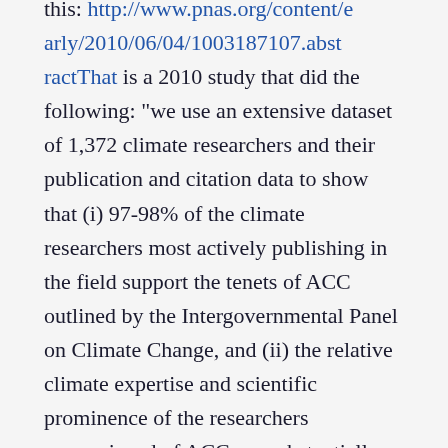this: http://www.pnas.org/content/early/2010/06/04/1003187107.abstractThat is a 2010 study that did the following: "we use an extensive dataset of 1,372 climate researchers and their publication and citation data to show that (i) 97-98% of the climate researchers most actively publishing in the field support the tenets of ACC outlined by the Intergovernmental Panel on Climate Change, and (ii) the relative climate expertise and scientific prominence of the researchers unconvinced of ACC are substantially below that of the convinced researchers."Or, you can peruse the list of scientific institutions of national or